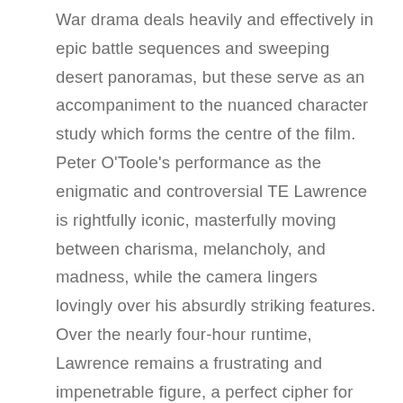War drama deals heavily and effectively in epic battle sequences and sweeping desert panoramas, but these serve as an accompaniment to the nuanced character study which forms the centre of the film. Peter O'Toole's performance as the enigmatic and controversial TE Lawrence is rightfully iconic, masterfully moving between charisma, melancholy, and madness, while the camera lingers lovingly over his absurdly striking features. Over the nearly four-hour runtime, Lawrence remains a frustrating and impenetrable figure, a perfect cipher for the confusion of war and what it does to the human soul. In its final act, Lawrence of Arabia moves beyond the personal to cast a cynical eye over the political machinations which control and manipulate conflict for their own benefit. It's a multi-layered experience which reveals more upon every viewing, and should be seen on the largest screen possible.